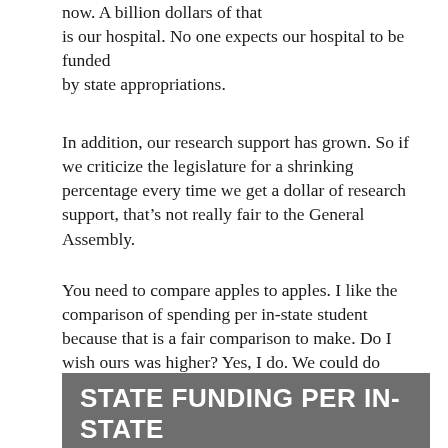now. A billion dollars of that is our hospital. No one expects our hospital to be funded by state appropriations.
In addition, our research support has grown. So if we criticize the legislature for a shrinking percentage every time we get a dollar of research support, that’s not really fair to the General Assembly.
You need to compare apples to apples. I like the comparison of spending per in-state student because that is a fair comparison to make. Do I wish ours was higher? Yes, I do. We could do more if it were.
STATE FUNDING PER IN-STATE STUDENT